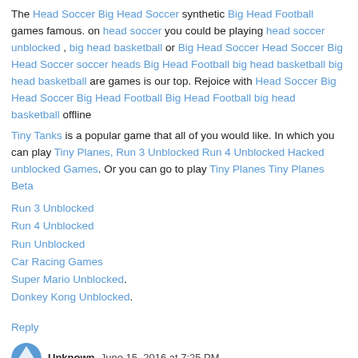The Head Soccer Big Head Soccer synthetic Big Head Football games famous. on head soccer you could be playing head soccer unblocked , big head basketball or Big Head Soccer Head Soccer Big Head Soccer soccer heads Big Head Football big head basketball big head basketball are games is our top. Rejoice with Head Soccer Big Head Soccer Big Head Football Big Head Football big head basketball offline
Tiny Tanks is a popular game that all of you would like. In which you can play Tiny Planes, Run 3 Unblocked Run 4 Unblocked Hacked unblocked Games. Or you can go to play Tiny Planes Tiny Planes Beta
Run 3 Unblocked
Run 4 Unblocked
Run Unblocked
Car Racing Games
Super Mario Unblocked.
Donkey Kong Unblocked.
Reply
Unknown  June 15, 2016 at 7:25 PM